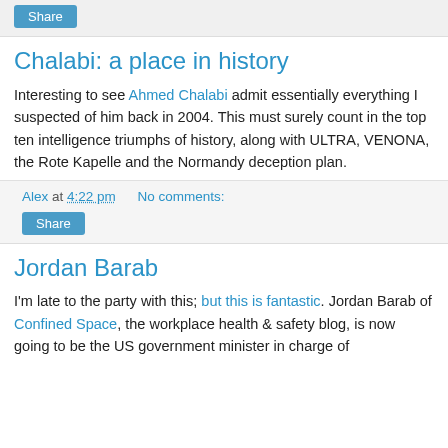Share
Chalabi: a place in history
Interesting to see Ahmed Chalabi admit essentially everything I suspected of him back in 2004. This must surely count in the top ten intelligence triumphs of history, along with ULTRA, VENONA, the Rote Kapelle and the Normandy deception plan.
Alex at 4:22 pm   No comments:
Share
Jordan Barab
I'm late to the party with this; but this is fantastic. Jordan Barab of Confined Space, the workplace health & safety blog, is now going to be the US government minister in charge of...